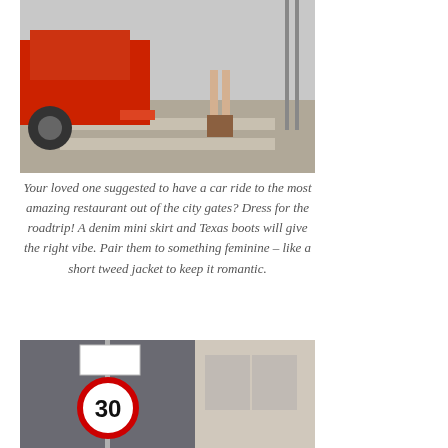[Figure (photo): Street scene with red car and woman in brown boots standing at a crosswalk]
Your loved one suggested to have a car ride to the most amazing restaurant out of the city gates? Dress for the roadtrip! A denim mini skirt and Texas boots will give the right vibe. Pair them to something feminine – like a short tweed jacket to keep it romantic.
[Figure (photo): Street scene with a 30 km/h speed limit sign in front of a grey building]